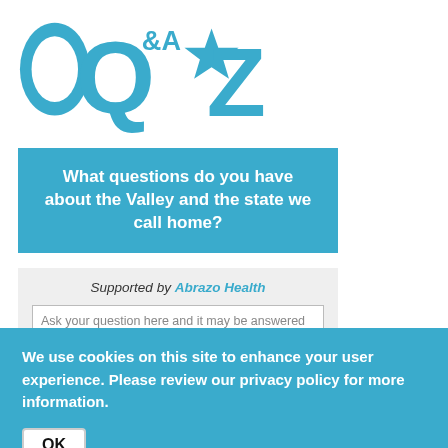[Figure (logo): Q&AZ logo in blue with a star, silhouette of faces on left]
What questions do you have about the Valley and the state we call home?
Supported by Abrazo Health
Ask your question here and it may be answered by one of KJZZ's reporters. (280 character limit)
For questions about programming, membership or
We use cookies on this site to enhance your user experience. Please review our privacy policy for more information.